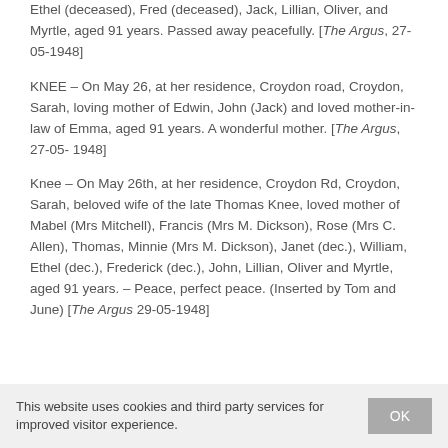Ethel (deceased), Fred (deceased), Jack, Lillian, Oliver, and Myrtle, aged 91 years. Passed away peacefully. [The Argus, 27-05-1948]
KNEE – On May 26, at her residence, Croydon road, Croydon, Sarah, loving mother of Edwin, John (Jack) and loved mother-in-law of Emma, aged 91 years. A wonderful mother. [The Argus, 27-05- 1948]
Knee – On May 26th, at her residence, Croydon Rd, Croydon, Sarah, beloved wife of the late Thomas Knee, loved mother of Mabel (Mrs Mitchell), Francis (Mrs M. Dickson), Rose (Mrs C. Allen), Thomas, Minnie (Mrs M. Dickson), Janet (dec.), William, Ethel (dec.), Frederick (dec.), John, Lillian, Oliver and Myrtle, aged 91 years. – Peace, perfect peace. (Inserted by Tom and June) [The Argus 29-05-1948]
This website uses cookies and third party services for improved visitor experience.